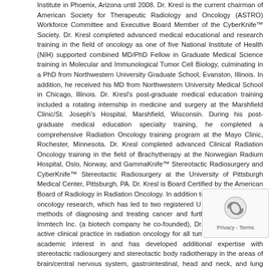Institute in Phoenix, Arizona until 2008. Dr. Kresl is the current chairman of American Society for Therapeutic Radiology and Oncology (ASTRO) Workforce Committee and Executive Board Member of the CyberKnife™ Society. Dr. Kresl completed advanced medical educational and research training in the field of oncology as one of five National Institute of Health (NIH) supported combined MD/PhD Fellow in Graduate Medical Science training in Molecular and Immunological Tumor Cell Biology, culminating in a PhD from Northwestern University Graduate School, Evanston, Illinois. In addition, he received his MD from Northwestern University Medical School in Chicago, Illinois. Dr. Kresl's post-graduate medical education training included a rotating internship in medicine and surgery at the Marshfield Clinic/St. Joseph's Hospital, Marshfield, Wisconsin. During his post-graduate medical education specialty training, he completed a comprehensive Radiation Oncology training program at the Mayo Clinic, Rochester, Minnesota. Dr. Kresl completed advanced Clinical Radiation Oncology training in the field of Brachytherapy at the Norwegian Radium Hospital, Oslo, Norway, and GammaKnife™ Stereotactic Radiosurgery and CyberKnife™ Stereotactic Radiosurgery at the University of Pittsburgh Medical Center, Pittsburgh, PA. Dr. Kresl is Board Certified by the American Board of Radiology in Radiation Oncology. In addition to remaining active in oncology research, which has led to two registered U.S. patents for novel methods of diagnosing and treating cancer and further development by Immtech Inc. (a biotech company he co-founded), Dr. Kresl maintains an active clinical practice in radiation oncology for all tumor sites. He has an academic interest in and has developed additional expertise with stereotactic radiosurgery and stereotactic body radiotherapy in the areas of brain/central nervous system, gastrointestinal, head and neck, and lung malignancies. Dr. Kresl serves as the principal investigator and co-investigator on clinical protocol investigations and has published over 100 abstracts, manuscripts, book chapters and textbooks related to the field of radiation oncology. Dr. Kresl is editor/editorial reviewer for Robotic Radiosurgery, Skull Base Surgery: An Interdisciplinary Approach, International Journal of Radiation Oncology, Biology Physics, and Journal of American College of Radiology. He is frequently an invited lecturer at seminars throughout the world. Dr. Kresl actively participates in national, regional and institutional Clinical Oncology Treatment Protocols that offer the newest and most advanced forms of treatment for tumors of all disease sites. Dr. Kresl has developed experience with and utilizes advanced modalities including intensity
[Figure (other): reCAPTCHA widget overlay in bottom-right corner showing a refresh/robot icon with 'Privacy - Terms' text below.]